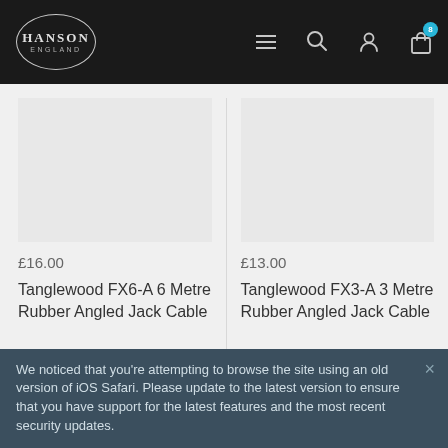HANSON ENGLAND
£16.00
Tanglewood FX6-A 6 Metre Rubber Angled Jack Cable
£13.00
Tanglewood FX3-A 3 Metre Rubber Angled Jack Cable
Home › General Accessories › Accessories › Konig And Meyer
We noticed that you're attempting to browse the site using an old version of iOS Safari. Please update to the latest version to ensure that you have support for the latest features and the most recent security updates.